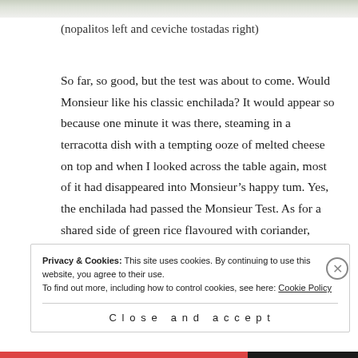[Figure (photo): Top strip showing partial food photo (nopalitos left and ceviche tostadas right)]
(nopalitos left and ceviche tostadas right)
So far, so good, but the test was about to come. Would Monsieur like his classic enchilada? It would appear so because one minute it was there, steaming in a terracotta dish with a tempting ooze of melted cheese on top and when I looked across the table again, most of it had disappeared into Monsieur’s happy tum. Yes, the enchilada had passed the Monsieur Test. As for a shared side of green rice flavoured with coriander,
Privacy & Cookies: This site uses cookies. By continuing to use this website, you agree to their use.
To find out more, including how to control cookies, see here: Cookie Policy
Close and accept